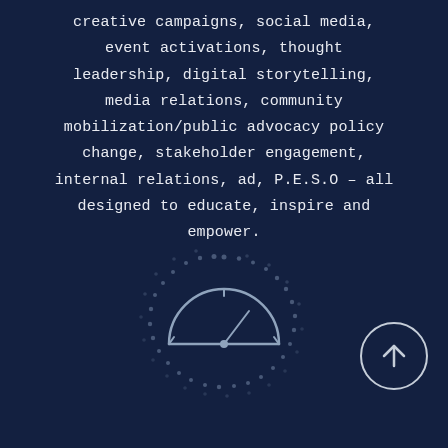creative campaigns, social media, event activations, thought leadership, digital storytelling, media relations, community mobilization/public advocacy policy change, stakeholder engagement, internal relations, ad, P.E.S.O – all designed to educate, inspire and empower.
[Figure (illustration): A speedometer/gauge icon in the center surrounded by a dotted circular arc pattern, rendered in muted blue-grey tones on dark navy background]
[Figure (illustration): A circular navigation button with an upward arrow, positioned in the lower right corner]